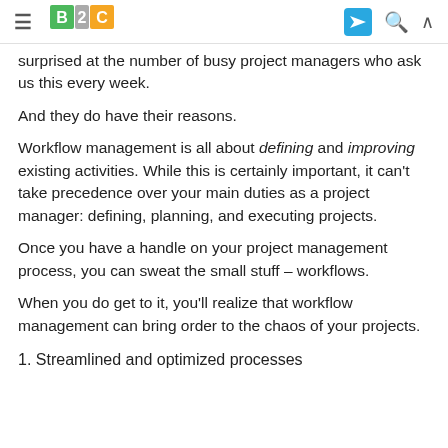B2C logo with hamburger menu and navigation icons
surprised at the number of busy project managers who ask us this every week.
And they do have their reasons.
Workflow management is all about defining and improving existing activities. While this is certainly important, it can't take precedence over your main duties as a project manager: defining, planning, and executing projects.
Once you have a handle on your project management process, you can sweat the small stuff – workflows.
When you do get to it, you'll realize that workflow management can bring order to the chaos of your projects.
1. Streamlined and optimized processes